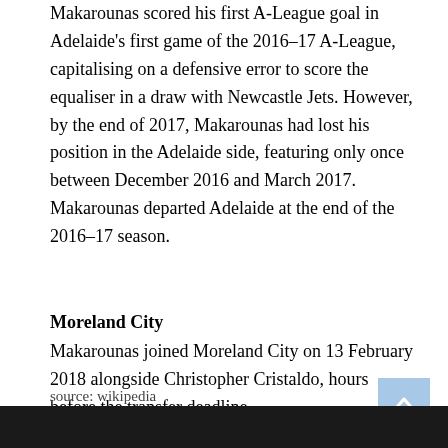Makarounas scored his first A-League goal in Adelaide's first game of the 2016–17 A-League, capitalising on a defensive error to score the equaliser in a draw with Newcastle Jets. However, by the end of 2017, Makarounas had lost his position in the Adelaide side, featuring only once between December 2016 and March 2017. Makarounas departed Adelaide at the end of the 2016–17 season.
Moreland City
Makarounas joined Moreland City on 13 February 2018 alongside Christopher Cristaldo, hours before the transfer deadline.
source: wikipedia
[Figure (photo): Dark photograph strip at the bottom of the page]